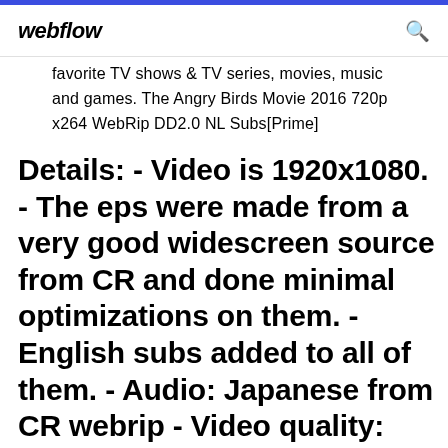webflow
favorite TV shows & TV series, movies, music and games. The Angry Birds Movie 2016 720p x264 WebRip DD2.0 NL Subs[Prime]
Details: - Video is 1920x1080. - The eps were made from a very good widescreen source from CR and done minimal optimizations on them. - English subs added to all of them. - Audio: Japanese from CR webrip - Video quality: 3500-4500 kbps...